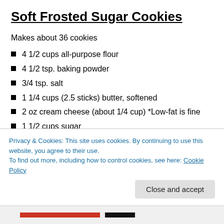Soft Frosted Sugar Cookies
Makes about 36 cookies
4  1/2 cups all-purpose flour
4  1/2  tsp. baking powder
3/4 tsp. salt
1  1/4  cups (2.5 sticks) butter, softened
2 oz cream cheese (about 1/4 cup)  *Low-fat is fine
1  1/2 cups sugar
3 large eggs
Privacy & Cookies: This site uses cookies. By continuing to use this website, you agree to their use.
To find out more, including how to control cookies, see here: Cookie Policy
Close and accept